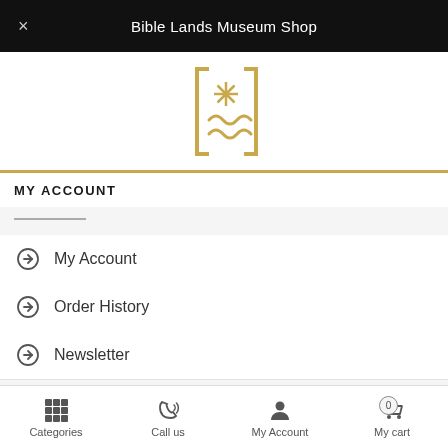Bible Lands Museum Shop
[Figure (logo): BLMJ Shop logo — square bracket frame with asterisk star and wave symbols, gold color, with vertical text 'BLMJ Shop']
MY ACCOUNT
My Account
Order History
Newsletter
Categories  Call us  My Account  My cart  0